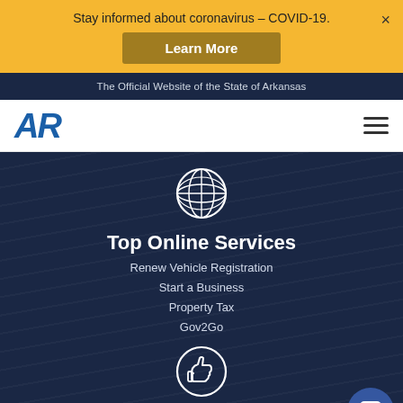Stay informed about coronavirus – COVID-19.
Learn More
The Official Website of the State of Arkansas
[Figure (logo): Arkansas state AR logo in blue italic bold text]
[Figure (illustration): Hamburger menu icon (three horizontal lines)]
[Figure (illustration): Globe/world icon in white circle outline]
Top Online Services
Renew Vehicle Registration
Start a Business
Property Tax
Gov2Go
[Figure (illustration): Thumbs up icon in white circle outline]
Helpful Information